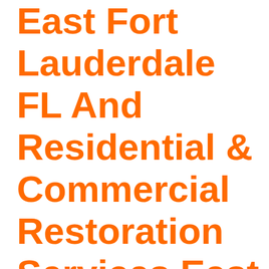East Fort Lauderdale FL And Residential & Commercial Restoration Services East Fort Lauderdale FL, & All Of Southeast